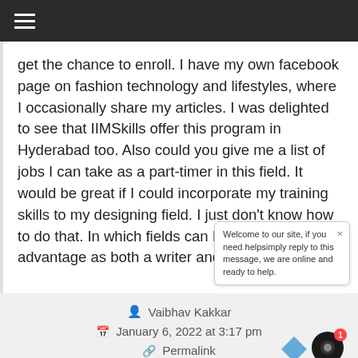≡
get the chance to enroll. I have my own facebook page on fashion technology and lifestyles, where I occasionally share my articles. I was delighted to see that IIMSkills offer this program in Hyderabad too. Also could you give me a list of jobs I can take as a part-timer in this field. It would be great if I could incorporate my training skills to my designing field. I just don't know how to do that. In which fields can I have an advantage as both a writer and a designer?
[Figure (screenshot): Chat widget popup saying: Welcome to our site, if you need help simply reply to this message, we are online and ready to help.]
Vaibhav Kakkar
January 6, 2022 at 3:17 pm
Permalink